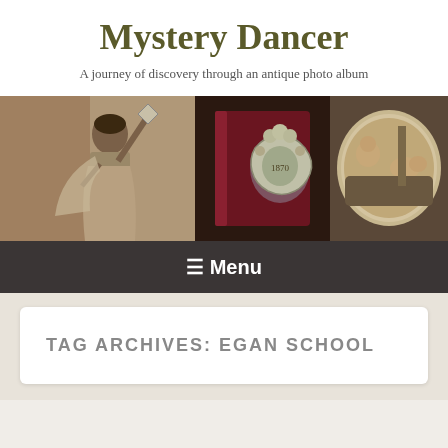Mystery Dancer
A journey of discovery through an antique photo album
[Figure (photo): Horizontal banner with three antique photos: a woman in costume holding a diamond shape aloft, an old red velvet photo album with ornate metal clasp, and an oval sepia portrait of two babies lying on fur]
≡ Menu
TAG ARCHIVES: EGAN SCHOOL